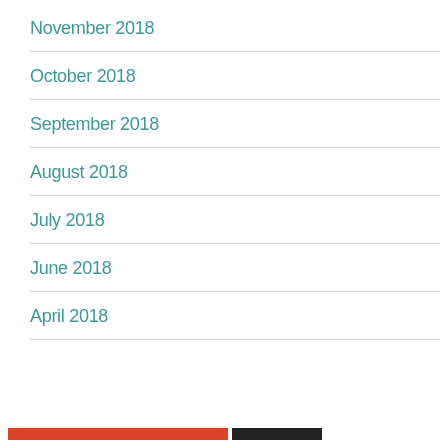November 2018
October 2018
September 2018
August 2018
July 2018
June 2018
April 2018
Privacy & Cookies: This site uses cookies. By continuing to use this website, you agree to their use.
To find out more, including how to control cookies, see here: Cookie Policy
Close and accept